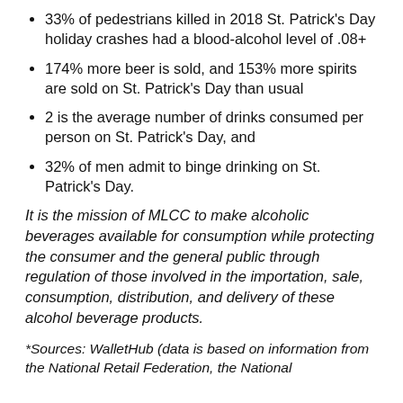33% of pedestrians killed in 2018 St. Patrick's Day holiday crashes had a blood-alcohol level of .08+
174% more beer is sold, and 153% more spirits are sold on St. Patrick's Day than usual
2 is the average number of drinks consumed per person on St. Patrick's Day, and
32% of men admit to binge drinking on St. Patrick's Day.
It is the mission of MLCC to make alcoholic beverages available for consumption while protecting the consumer and the general public through regulation of those involved in the importation, sale, consumption, distribution, and delivery of these alcohol beverage products.
*Sources: WalletHub (data is based on information from the National Retail Federation, the National Highway Traffic Safety Administration...)